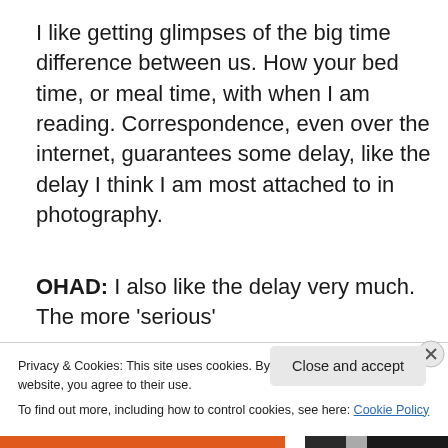I like getting glimpses of the big time difference between us. How your bed time, or meal time, with when I am reading. Correspondence, even over the internet, guarantees some delay, like the delay I think I am most attached to in photography.
OHAD: I also like the delay very much. The more 'serious'
Privacy & Cookies: This site uses cookies. By continuing to use this website, you agree to their use.
To find out more, including how to control cookies, see here: Cookie Policy
Close and accept